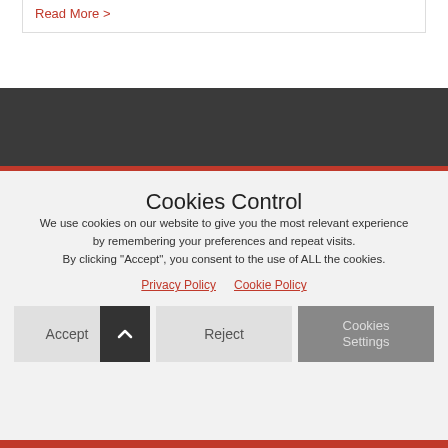Read More >
[Figure (screenshot): Dark navigation bar with red stripe below it]
Cookies Control
We use cookies on our website to give you the most relevant experience by remembering your preferences and repeat visits. By clicking "Accept", you consent to the use of ALL the cookies.
Privacy Policy   Cookie Policy
Accept   Reject   Cookies Settings